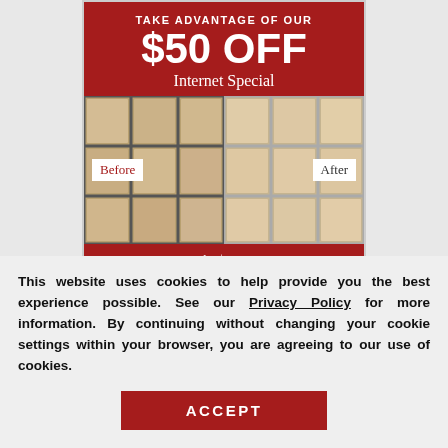[Figure (infographic): Advertisement banner with red background showing '$50 OFF Internet Special' promotion for tile cleaning service. Includes before/after photos of tile flooring. Text includes 'TAKE ADVANTAGE OF OUR $50 OFF Internet Special', 'On jobs $500 & up', 'GET started TODAY', and a 'Request a Free' popup with close button.]
This website uses cookies to help provide you the best experience possible. See our Privacy Policy for more information. By continuing without changing your cookie settings within your browser, you are agreeing to our use of cookies.
ACCEPT